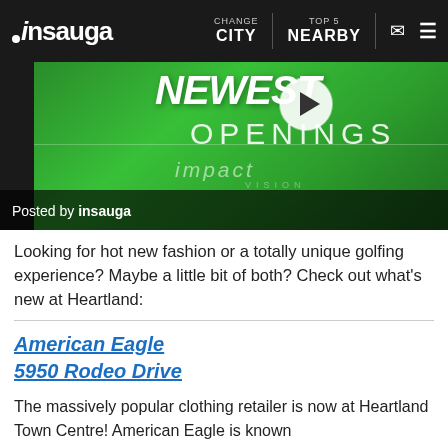insauga | CHANGE CITY | TOP 5 NEARBY
[Figure (screenshot): Video thumbnail showing 'NEWEST OPENINGS' text on green background with play button overlay. Posted by insauga.]
Looking for hot new fashion or a totally unique golfing experience? Maybe a little bit of both? Check out what's new at Heartland:
American Eagle
5950 Rodeo Drive
The massively popular clothing retailer is now at Heartland Town Centre! American Eagle is known